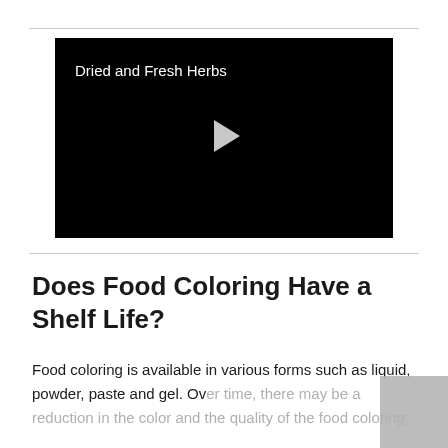[Figure (screenshot): Video thumbnail with black background showing title 'Dried and Fresh Herbs' and a play button in the center]
Does Food Coloring Have a Shelf Life?
Food coloring is available in various forms such as liquid, powder, paste and gel. Over time, there may be a reduction in the color and the quality of the food coloring;